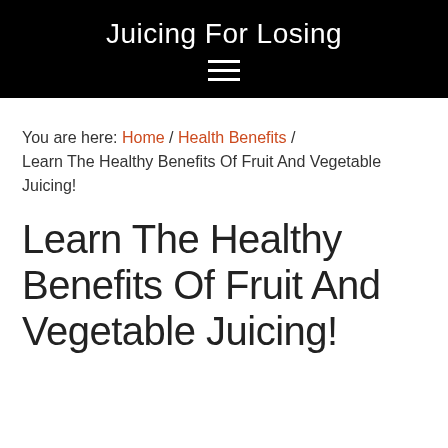Juicing For Losing
You are here: Home / Health Benefits / Learn The Healthy Benefits Of Fruit And Vegetable Juicing!
Learn The Healthy Benefits Of Fruit And Vegetable Juicing!